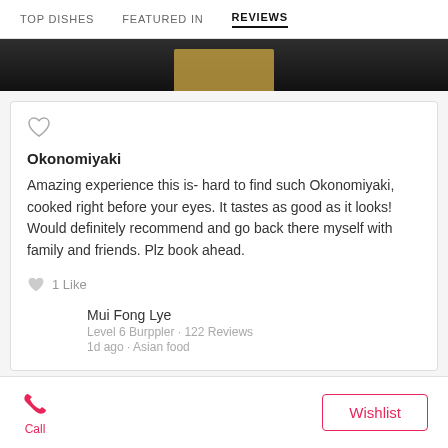TOP DISHES   FEATURED IN   REVIEWS
[Figure (photo): Food photo strip showing cooked dish on dark background]
Okonomiyaki
Amazing experience this is- hard to find such Okonomiyaki, cooked right before your eyes. It tastes as good as it looks! Would definitely recommend and go back there myself with family and friends. Plz book ahead.
1 Like
Mui Fong Lye
Level 6 Burppler · 122 Reviews
1d ago · Asian food
Call
Wishlist